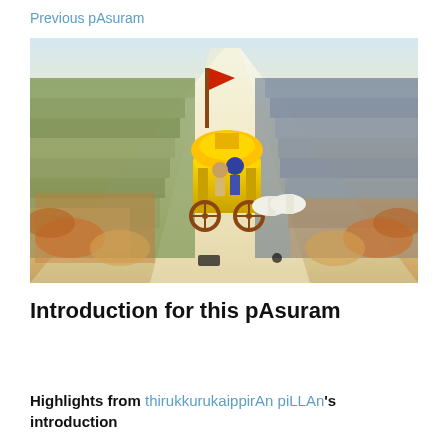Previous pAsuram
[Figure (illustration): Traditional Indian painting depicting the Kurukshetra battlefield scene from the Mahabharata: two vast armies face each other on either side of a central path; in the middle, a golden chariot with Krishna and Arjuna, with white horses.]
Introduction for this pAsuram
Highlights from thirukkurukaippirAn piLLAn's introduction